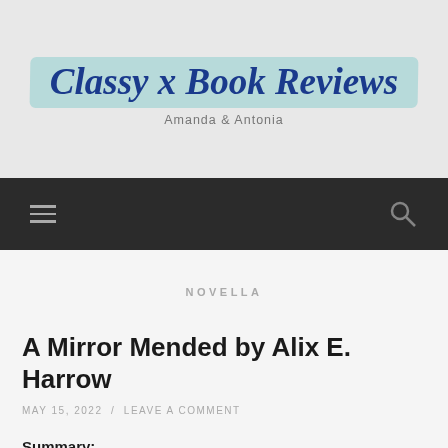Classy x Book Reviews
Amanda & Antonia
[Figure (logo): Classy x Book Reviews logo with teal brush stroke background, cursive blue text, and subtitle 'Amanda & Antonia']
NOVELLA
A Mirror Mended by Alix E. Harrow
MAY 15, 2022  /  LEAVE A COMMENT
Summary:
Zinnia Gray, professional fairy-tale fixer and lapsed